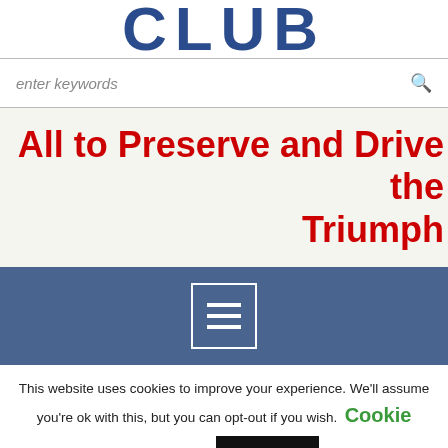CLUB
enter keywords
All to Preserve and Drive the Triumph
[Figure (other): Navigation menu button with hamburger icon on a blue-grey background]
This website uses cookies to improve your experience. We'll assume you're ok with this, but you can opt-out if you wish. Cookie settings ACCEPT